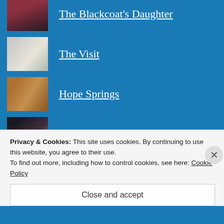The Blackcoat's Daughter
The Visit
Hope Springs
Green Room
Gods of Egypt
Deadpool
Privacy & Cookies: This site uses cookies. By continuing to use this website, you agree to their use.
To find out more, including how to control cookies, see here: Cookie Policy
Close and accept